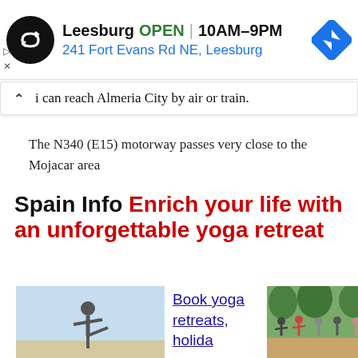[Figure (other): Ad banner: circular black logo with loop arrows, business name 'Leesburg', green 'OPEN', '10AM-9PM', address '241 Fort Evans Rd NE, Leesburg', blue diamond navigation arrow icon]
i can reach Almeria City by air or train.
The N340 (E15) motorway passes very close to the Mojacar area
Spain Info Enrich your life with an unforgettable yoga retreat
[Figure (photo): Person doing a standing yoga balance pose outdoors against a light sky background]
Book yoga retreats, holida
[Figure (photo): Group of people doing yoga on an outdoor deck surrounded by trees]